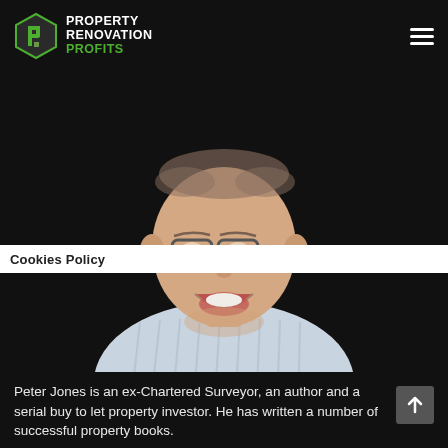[Figure (logo): Property Renovation Profits logo with hexagonal P icon in green]
[Figure (photo): Middle-aged man with glasses, smiling, wearing a light blue striped shirt, photographed against a dark background]
Cookies Policy
Peter Jones is an ex-Chartered Surveyor, an author and a serial buy to let property investor. He has written a number of successful property books.